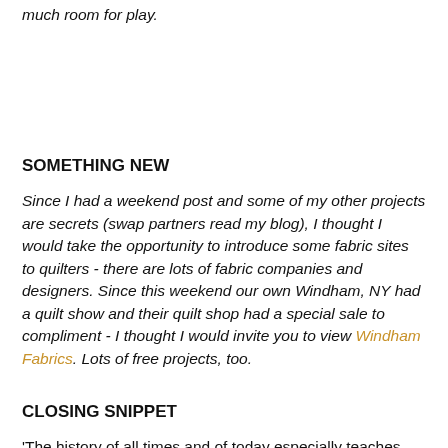much room for play.
SOMETHING NEW
Since I had a weekend post and some of my other projects are secrets (swap partners read my blog), I thought I would take the opportunity to introduce some fabric sites to quilters - there are lots of fabric companies and designers. Since this weekend our own Windham, NY had a quilt show and their quilt shop had a special sale to compliment - I thought I would invite you to view Windham Fabrics. Lots of free projects, too.
CLOSING SNIPPET
'The history of all times and of today especially teaches that women will be forgotten if they forgot to think about